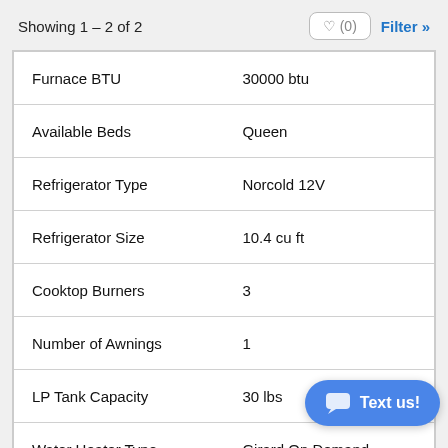Showing 1 – 2 of 2
| Feature | Value |
| --- | --- |
| Furnace BTU | 30000 btu |
| Available Beds | Queen |
| Refrigerator Type | Norcold 12V |
| Refrigerator Size | 10.4 cu ft |
| Cooktop Burners | 3 |
| Number of Awnings | 1 |
| LP Tank Capacity | 30 lbs |
| Water Heater Type | Girard On Demand |
| AC BTU | 15000 btu |
| TV Info | LR LED HDTV |
| Awning Info | 17... with Gas Strut Arm |
Text us!